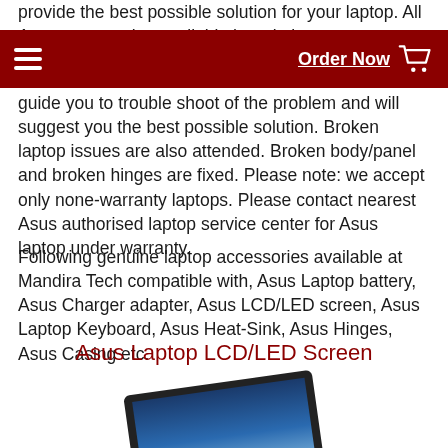provide the best possible solution for your laptop. All Asus accessories available here in best... your laptop problem with our tech... guide you to trouble shoot of the problem and will suggest you the best possible solution. Broken laptop issues are also attended. Broken body/panel and broken hinges are fixed. Please note: we accept only none-warranty laptops. Please contact nearest Asus authorised laptop service center for Asus laptop under warranty.
Order Now
Following genuine laptop accessories available at Mandira Tech compatible with, Asus Laptop battery, Asus Charger adapter, Asus LCD/LED screen, Asus Laptop Keyboard, Asus Heat-Sink, Asus Hinges, Asus Casing etc.
Asus Laptop LCD/LED Screen
[Figure (photo): Laptop LCD/LED screen shown open at an angle with a blue sky/water gradient on screen, with text 'Available for all models' overlaid in dark red bold text]